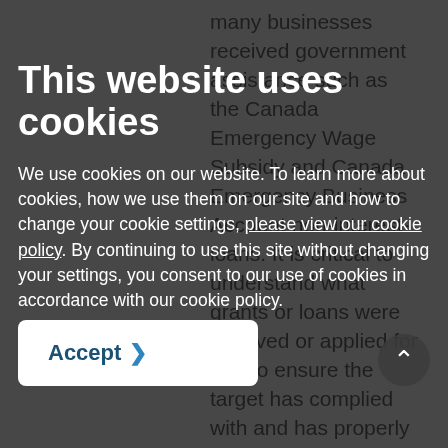many businesses received government assistance such as the Canada Emergency Wage Subsidy and Canada Emergency Business Account non-interest-loans. It is critical to understand what grants or loans were received or applied for and to ensure the target has complied with and has properly accounted for them. Finally, there are reputational issues related to accepting government assistance that should be considered. For example, stories in the media have recently targeted entities paying out dividends to shareholders, bonuses to
This website uses cookies
We use cookies on our website. To learn more about cookies, how we use them on our site and how to change your cookie settings, please view our cookie policy. By continuing to use this site without changing your settings, you consent to our use of cookies in accordance with our cookie policy.
Accept